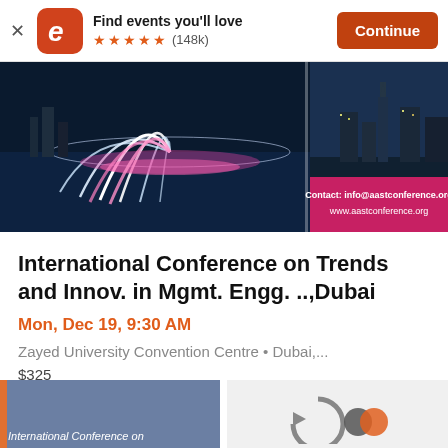[Figure (screenshot): App banner with Eventbrite logo, 'Find events you'll love' text, 5-star rating (148k reviews), and Continue button]
[Figure (photo): Dubai conference banner image showing Dubai Fountain water show and Burj Khalifa skyline at night, with pink overlay showing contact info@aastconference.org and www.aastconference.org]
International Conference on Trends and Innov. in Mgmt. Engg. ..,Dubai
Mon, Dec 19, 9:30 AM
Zayed University Convention Centre • Dubai,...
$325
[Figure (screenshot): Partial bottom strip showing another conference listing with gray-blue left panel and icons on right side]